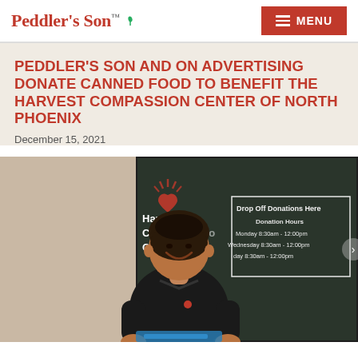Peddler's Son™
PEDDLER'S SON AND ON ADVERTISING DONATE CANNED FOOD TO BENEFIT THE HARVEST COMPASSION CENTER OF NORTH PHOENIX
December 15, 2021
[Figure (photo): A smiling woman in a black Peddler's Son polo shirt standing in front of the Harvest Compassion Center entrance, which has signage reading 'Drop Off Donations Here' with donation hours: Monday 8:30am-12:00pm, Wednesday 8:30am-12:00pm, and another day 8:30am-12:00pm.]